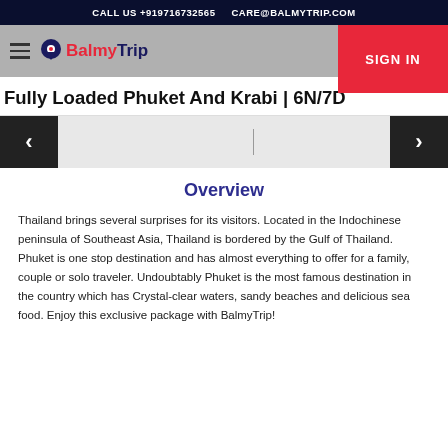CALL US +919716732565   CARE@BALMYTRIP.COM
[Figure (logo): BalmyTrip logo with location pin icon and navigation bar with hamburger menu and SIGN IN button]
Fully Loaded Phuket And Krabi | 6N/7D
[Figure (other): Carousel navigation with left arrow and right arrow buttons]
Overview
Thailand brings several surprises for its visitors. Located in the Indochinese peninsula of Southeast Asia, Thailand is bordered by the Gulf of Thailand. Phuket is one stop destination and has almost everything to offer for a family, couple or solo traveler. Undoubtably Phuket is the most famous destination in the country which has Crystal-clear waters, sandy beaches and delicious sea food. Enjoy this exclusive package with BalmyTrip!